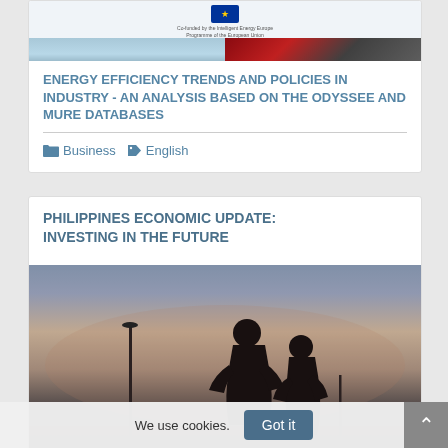[Figure (photo): EU logo and co-funded tagline above two photos: sky/clouds on left, industrial/market scene on right]
ENERGY EFFICIENCY TRENDS AND POLICIES IN INDUSTRY - AN ANALYSIS BASED ON THE ODYSSEE AND MURE DATABASES
Business   English
PHILIPPINES ECONOMIC UPDATE: INVESTING IN THE FUTURE
[Figure (photo): Two silhouettes of people standing against a dramatic dusk/sunset sky with industrial structures in background]
We use cookies.